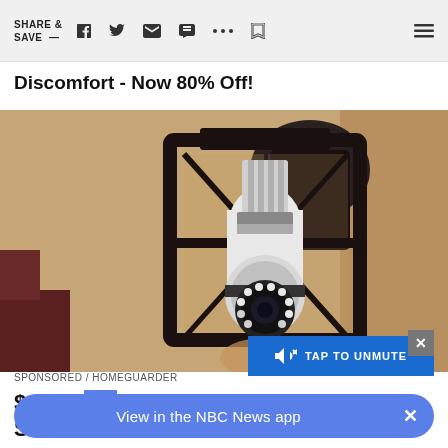SHARE & SAVE —
Discomfort - Now 80% Off!
[Figure (photo): Close-up photograph of a security camera shaped like a light bulb with LED ring, installed inside a black metal lantern-style outdoor wall sconce mounted on a beige stucco wall. The camera has a white body with a camera lens at the bottom surrounded by white LED lights.]
SPONSORED / HOMEGUARDER
$46 Se... Seem Ancient